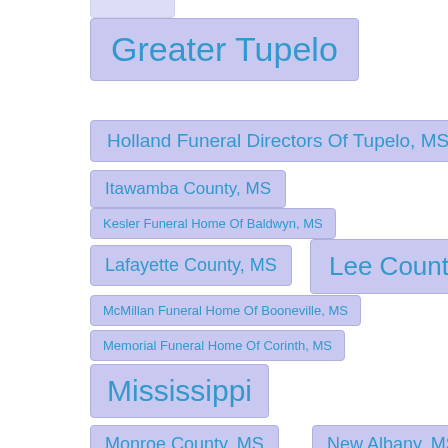(partial top item, clipped)
Greater Tupelo
Holland Funeral Directors Of Tupelo, MS
Itawamba County, MS
Kesler Funeral Home Of Baldwyn, MS
Lafayette County, MS
Lee County, MS
McMillan Funeral Home Of Booneville, MS
Memorial Funeral Home Of Corinth, MS
Mississippi
Monroe County, MS
New Albany, MS
(partial bottom item, clipped)